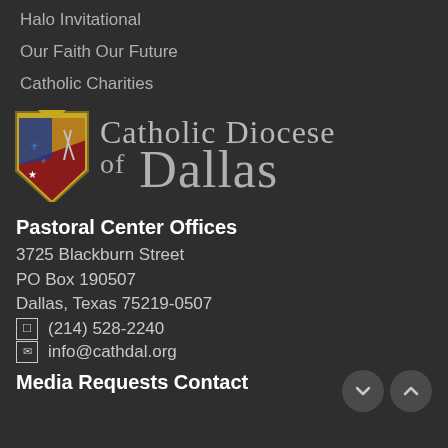Halo Invitational
Our Faith Our Future
Catholic Charities
[Figure (logo): Catholic Diocese of Dallas logo with bishop's coat of arms shield on the left and text 'Catholic Diocese of Dallas' on the right]
Pastoral Center Offices
3725 Blackburn Street
PO Box 190507
Dallas, Texas 75219-0507
(214) 528-2240
info@cathdal.org
Media Requests Contact